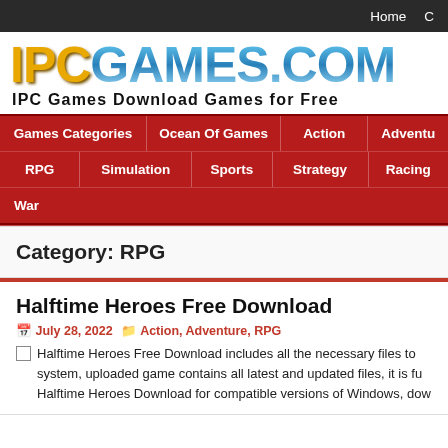Home
[Figure (logo): IPCGAMES.COM logo with golden IPC and blue GAMES.COM text, tagline: IPC Games Download Games for Free]
Games Categories | Ocean Of Games | Action | Adventu | RPG | Simulation | Sports | Strategy | Racing | War
Category: RPG
Halftime Heroes Free Download
July 28, 2022   Action, Adventure, RPG
Halftime Heroes Free Download includes all the necessary files to system, uploaded game contains all latest and updated files, it is fu Halftime Heroes Download for compatible versions of Windows, dow